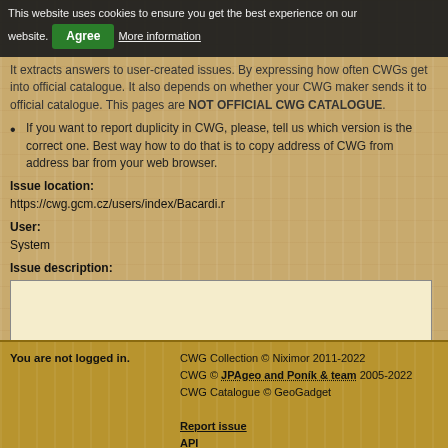This website uses cookies to ensure you get the best experience on our website. [Agree] [More information]
It extracts answers to user-created issues. By expressing how often CWGs get into official catalogue. It also depends on whether your CWG maker sends it to official catalogue. This pages are NOT OFFICIAL CWG CATALOGUE.
If you want to report duplicity in CWG, please, tell us which version is the correct one. Best way how to do that is to copy address of CWG from address bar from your web browser.
Issue location:
https://cwg.gcm.cz/users/index/Bacardi.r
User:
System
Issue description:
[text area]
Send
You are not logged in.
CWG Collection © Niximor 2011-2022
CWG © JPAgeo and Poník & team 2005-2022
CWG Catalogue © GeoGadget
Report issue
API